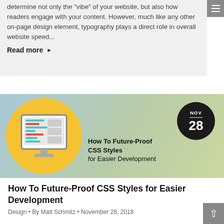determine not only the "vibe" of your website, but also how readers engage with your content. However, much like any other on-page design element, typography plays a direct role in overall website speed...
Read more ▶
[Figure (screenshot): Article thumbnail showing a computer monitor with colorful CSS code on screen, inside a yellow circle, against a blue-green gradient background. Date badge showing NOV 28 in top right. Title overlay 'How To Future-Proof CSS Styles for Easier Development']
How To Future-Proof CSS Styles for Easier Development
Design • By Matt Schmitz • November 28, 2018